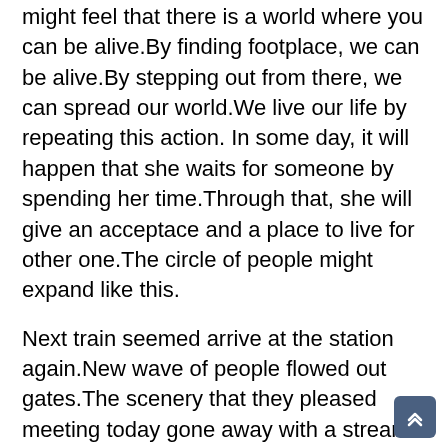might feel that there is a world where you can be alive.By finding footplace, we can be alive.By stepping out from there, we can spread our world.We live our life by repeating this action. In some day, it will happen that she waits for someone by spending her time.Through that, she will give an acceptace and a place to live for other one.The circle of people might expand like this.
Next train seemed arrive at the station again.New wave of people flowed out gates.The scenery that they pleased meeting today gone away with a stream of folks.